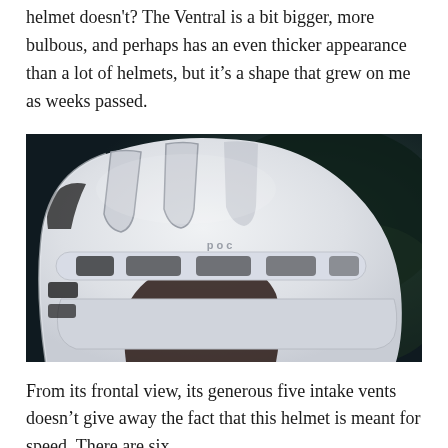helmet doesn't? The Ventral is a bit bigger, more bulbous, and perhaps has an even thicker appearance than a lot of helmets, but it's a shape that grew on me as weeks passed.
[Figure (photo): Close-up photo of a white POC Ventral cycling helmet showing its large vents and sculptured shell structure, with a dark blurred background.]
From its frontal view, its generous five intake vents doesn't give away the fact that this helmet is meant for speed. There are six